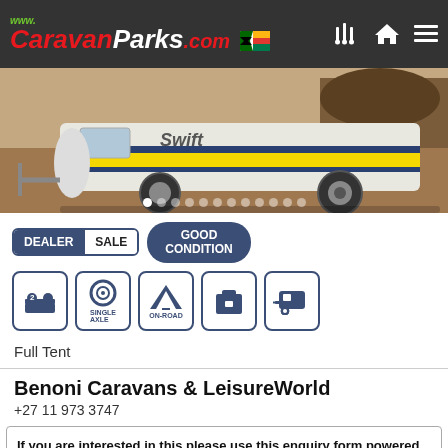www.CaravanParks.com
[Figure (photo): Side view of a white Swift caravan with yellow and blue stripe, parked on a driveway with brown dirt background]
DEALER  SALE  GOOD CONDITION
[Figure (infographic): Feature icons: 2 berths, single axle, on-road, storage, caravan type]
Full Tent
Benoni Caravans & LeisureWorld
+27 11 973 3747
If you are interested in this please use this enquiry form powered by CaravanParks.com.
Your name and surname: *